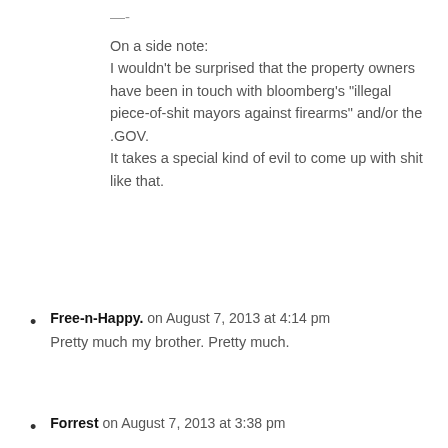—-
On a side note:
I wouldn't be surprised that the property owners have been in touch with bloomberg's "illegal piece-of-shit mayors against firearms" and/or the .GOV.
It takes a special kind of evil to come up with shit like that.
Free-n-Happy. on August 7, 2013 at 4:14 pm
Pretty much my brother. Pretty much.
Forrest on August 7, 2013 at 3:38 pm